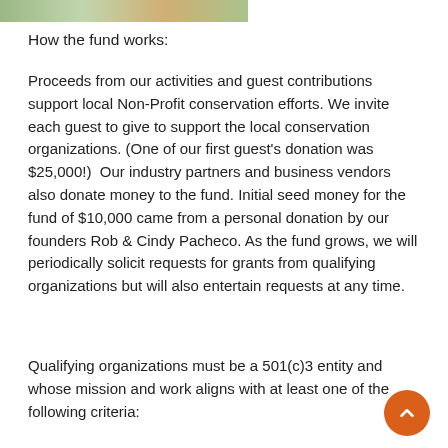[Figure (photo): Partial photo strip at the top of the page showing a nature/outdoor scene]
How the fund works:
Proceeds from our activities and guest contributions support local Non-Profit conservation efforts. We invite each guest to give to support the local conservation organizations. (One of our first guest's donation was $25,000!)  Our industry partners and business vendors also donate money to the fund. Initial seed money for the fund of $10,000 came from a personal donation by our founders Rob & Cindy Pacheco. As the fund grows, we will periodically solicit requests for grants from qualifying organizations but will also entertain requests at any time.
Qualifying organizations must be a 501(c)3 entity and whose mission and work aligns with at least one of the following criteria: